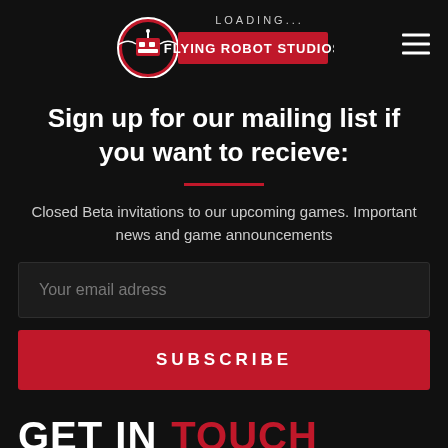LOADING... Flying Robot Studios [navigation header with logo and hamburger menu]
Sign up for our mailing list if you want to recieve:
Closed Beta invitations to our upcoming games. Important news and game announcements
Your email adress
SUBSCRIBE
GET IN TOUCH